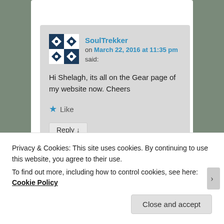[Figure (screenshot): Blog comment from user SoulTrekker on March 22, 2016 at 11:35 pm saying: Hi Shelagh, its all on the Gear page of my website now. Cheers. With Like and Reply buttons.]
Privacy & Cookies: This site uses cookies. By continuing to use this website, you agree to their use.
To find out more, including how to control cookies, see here: Cookie Policy
Close and accept